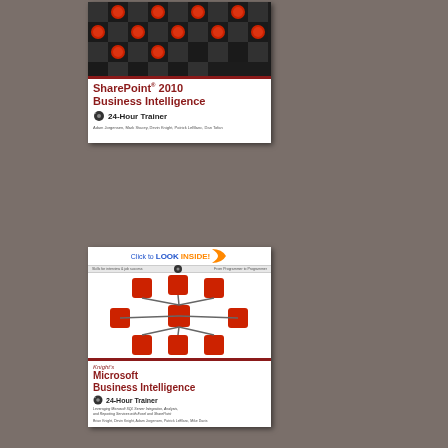[Figure (photo): Book cover: SharePoint 2010 Business Intelligence 24-Hour Trainer. Top half shows a checkerboard pattern with red and dark game pieces on black and white squares. Bottom half shows title text in red and a DVD icon.]
[Figure (photo): Book cover: Knight's Microsoft Business Intelligence 24-Hour Trainer. Shows 'Click to LOOK INSIDE!' banner, network diagram with red connected nodes, title text in red, subtitle description, and author names.]